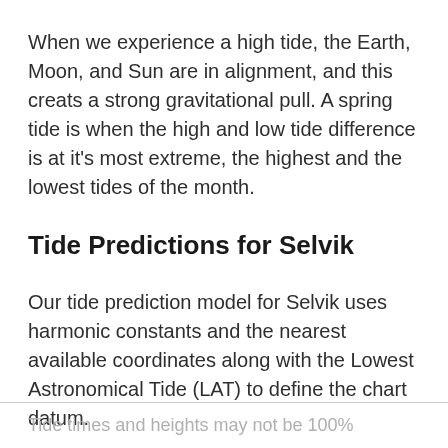When we experience a high tide, the Earth, Moon, and Sun are in alignment, and this creats a strong gravitational pull. A spring tide is when the high and low tide difference is at it's most extreme, the highest and the lowest tides of the month.
Tide Predictions for Selvik
Our tide prediction model for Selvik uses harmonic constants and the nearest available coordinates along with the Lowest Astronomical Tide (LAT) to define the chart datum.
Tide times and heights may not be 100%